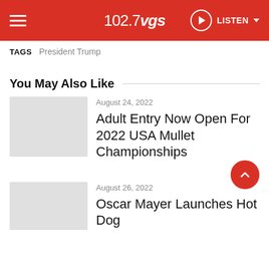102.7 VGS — LISTEN
TAGS   President Trump
You May Also Like
[Figure (photo): Thumbnail image placeholder (light gray)]
August 24, 2022
Adult Entry Now Open For 2022 USA Mullet Championships
[Figure (photo): Thumbnail image placeholder (light gray)]
August 26, 2022
Oscar Mayer Launches Hot Dog